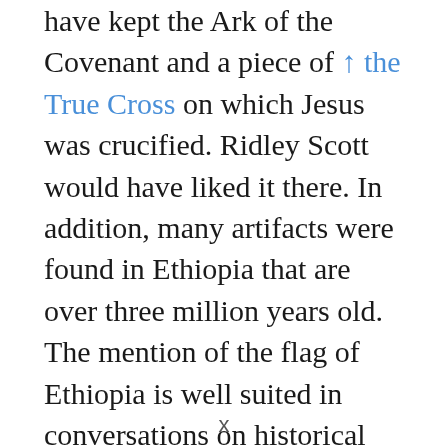have kept the Ark of the Covenant and a piece of ↑ the True Cross on which Jesus was crucified. Ridley Scott would have liked it there. In addition, many artifacts were found in Ethiopia that are over three million years old. The mention of the flag of Ethiopia is well suited in conversations on historical subjects, religious disputes, and, as already mentioned above, Ethiopia should get a separate mention from Ridley Scott, who likes to analyze such topics under 🔬 Microscope. +add
x